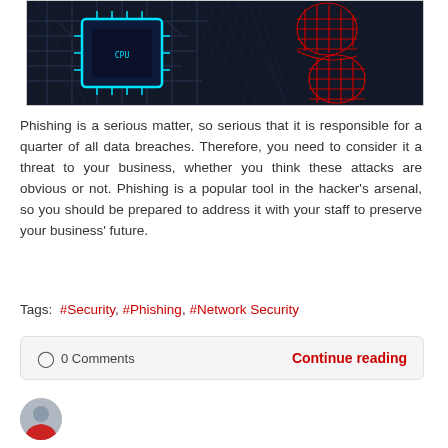[Figure (photo): Dark circuit board with cyan glowing chip outline and red 3D snake/S-shape wireframe model on the right side]
Phishing is a serious matter, so serious that it is responsible for a quarter of all data breaches. Therefore, you need to consider it a threat to your business, whether you think these attacks are obvious or not. Phishing is a popular tool in the hacker’s arsenal, so you should be prepared to address it with your staff to preserve your business’ future.
Tags: #Security, #Phishing, #Network Security
0 Comments
Continue reading
[Figure (photo): Small circular avatar photo of a person wearing a red shirt]